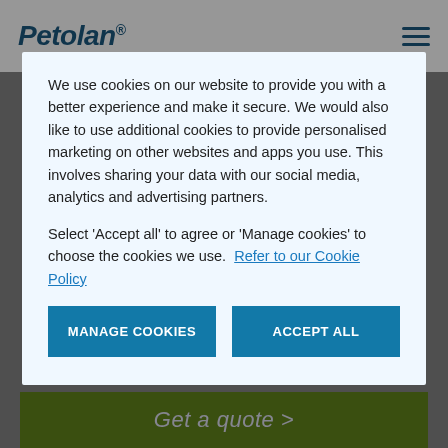[Figure (screenshot): Petolan website header with logo and hamburger menu icon]
We use cookies on our website to provide you with a better experience and make it secure. We would also like to use additional cookies to provide personalised marketing on other websites and apps you use. This involves sharing your data with our social media, analytics and advertising partners.
Select 'Accept all' to agree or 'Manage cookies' to choose the cookies we use. Refer to our Cookie Policy
MANAGE COOKIES
ACCEPT ALL
Cat Insurance Quote
Cat and Kitten Insurance
Rabbit Insurance Quote
Rabbit Insurance
Retrieve my Quote
Horse Insurance
Get a quote >